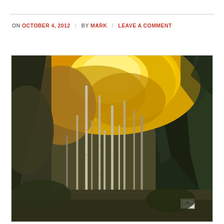ON OCTOBER 4, 2012 / BY MARK / LEAVE A COMMENT
[Figure (photo): Autumn forest scene with golden yellow aspen trees and dark green pine trees, tall white aspen trunks visible in foreground, road signs partially visible at bottom right]